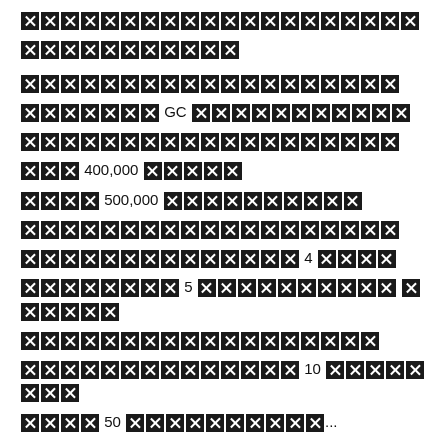[blocked text] [blocked text] [blocked text] GC [blocked text] 400,000 [blocked text] 500,000 [blocked text] [blocked text] 4 [blocked text] 5 [blocked text] [blocked text] 10 [blocked text] 50 [blocked text]...
May 21, 2021 / sagame 1688 / sagame 1688